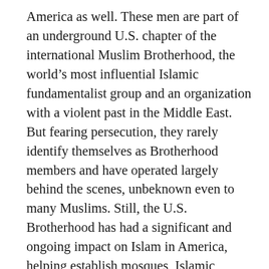America as well. These men are part of an underground U.S. chapter of the international Muslim Brotherhood, the world's most influential Islamic fundamentalist group and an organization with a violent past in the Middle East. But fearing persecution, they rarely identify themselves as Brotherhood members and have operated largely behind the scenes, unbeknown even to many Muslims. Still, the U.S. Brotherhood has had a significant and ongoing impact on Islam in America, helping establish mosques, Islamic schools, summer youth camps and prominent Muslim organizations. It is a major factor, Islamic scholars say, in why many Muslim institutions in the nation have become more conservative